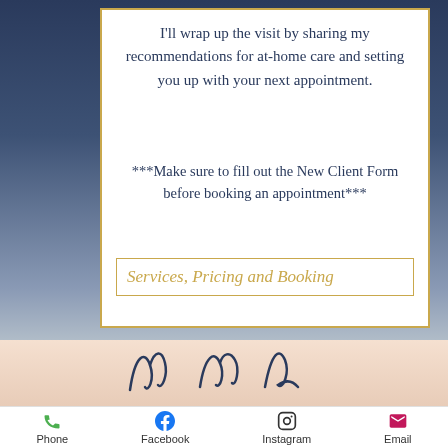I'll wrap up the visit by sharing my recommendations for at-home care and setting you up with your next appointment.
***Make sure to fill out the New Client Form before booking an appointment***
Services, Pricing and Booking
[Figure (illustration): Decorative script/signature illustration in dark navy blue]
Phone  Facebook  Instagram  Email